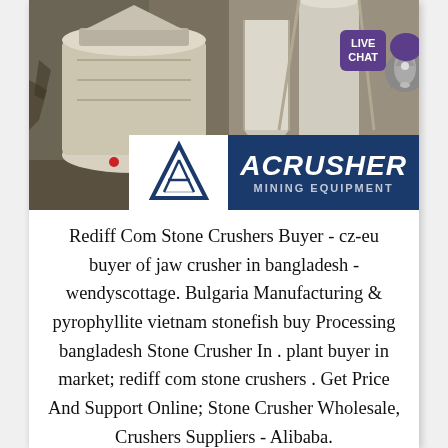[Figure (photo): Photo of industrial stone crusher/mining equipment (large cylindrical machine) in a facility, with ACrusher Mining Equipment logo overlay at the bottom of the image. A 'LIVE CHAT' speech bubble icon appears in the top-right corner.]
Rediff Com Stone Crushers Buyer - cz-eu buyer of jaw crusher in bangladesh - wendyscottage. Bulgaria Manufacturing & pyrophyllite vietnam stonefish buy Processing bangladesh Stone Crusher In . plant buyer in market; rediff com stone crushers . Get Price And Support Online; Stone Crusher Wholesale, Crushers Suppliers - Alibaba.